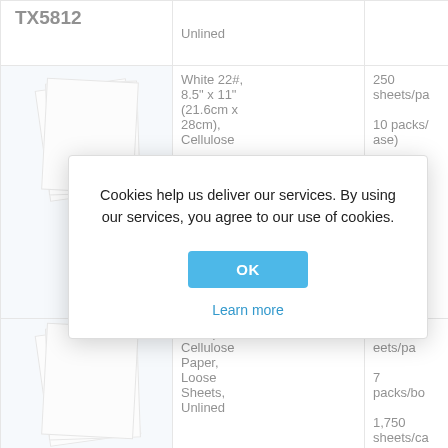| Product | Description | Quantity |
| --- | --- | --- |
| TX5812 (partial) | Unlined | (partial) |
| (image) | White 22#, 8.5" x 11" (21.6cm x 28cm), Cellulose... | 250 sheets/pa
10 packs/
ase)
500 she
tal |
| TX5832 | 28cm), Cellulose Paper, Loose Sheets, Unlined | 50
eets/pa
7 packs/bo
1,750 sheets/ca |
[Figure (screenshot): Cookie consent modal dialog with text: 'Cookies help us deliver our services. By using our services, you agree to our use of cookies.' with OK button and Learn more link.]